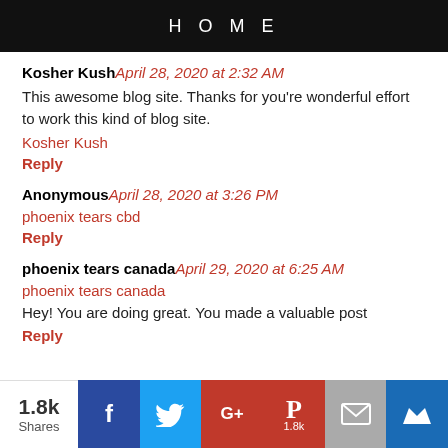HOME
Kosher Kush April 28, 2020 at 2:32 AM
This awesome blog site. Thanks for you're wonderful effort to work this kind of blog site.
Kosher Kush
Reply
Anonymous April 28, 2020 at 3:26 PM
phoenix tears cbd
Reply
phoenix tears canada April 29, 2020 at 6:25 AM
phoenix tears canada
Hey! You are doing great. You made a valuable post
Reply
1.8k Shares